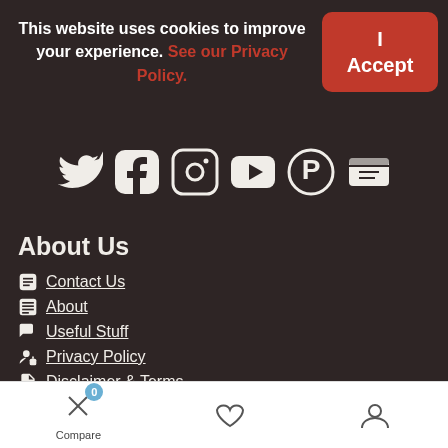This website uses cookies to improve your experience. See our Privacy Policy.
I Accept
[Figure (illustration): Social media icons: Twitter, Facebook, Instagram, YouTube, Pinterest, Email]
About Us
Contact Us
About
Useful Stuff
Privacy Policy
Disclaimer & Terms
Member Tools
[Figure (illustration): Bottom navigation bar with Compare (badge: 0), heart/wishlist icon, and user/account icon]